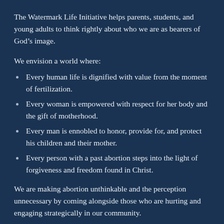The Watermark Life Initiative helps parents, students, and young adults to think rightly about who we are as bearers of God’s image.
We envision a world where:
Every human life is dignified with value from the moment of fertilization.
Every woman is empowered with respect for her body and the gift of motherhood.
Every man is ennobled to honor, provide for, and protect his children and their mother.
Every person with a past abortion steps into the light of forgiveness and freedom found in Christ.
We are making abortion unthinkable and the perception unnecessary by coming alongside those who are hurting and engaging strategically in our community.